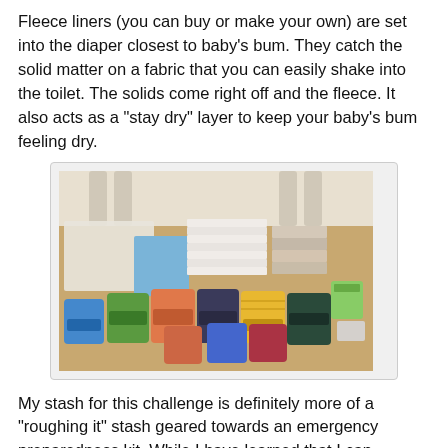Fleece liners (you can buy or make your own) are set into the diaper closest to baby's bum. They catch the solid matter on a fabric that you can easily shake into the toilet. The solids come right off and the fleece. It also acts as a "stay dry" layer to keep your baby's bum feeling dry.
[Figure (photo): Photo of a collection of cloth diapers and diaper accessories laid out on a table, including folded flat diapers, pocket diapers in various colorful prints, and a container of wipes.]
My stash for this challenge is definitely more of a "roughing it" stash geared towards an emergency preparedness kit. While I have learned that I can certainly make do with my flats challenge stash, I do love my usual stash. Above is a